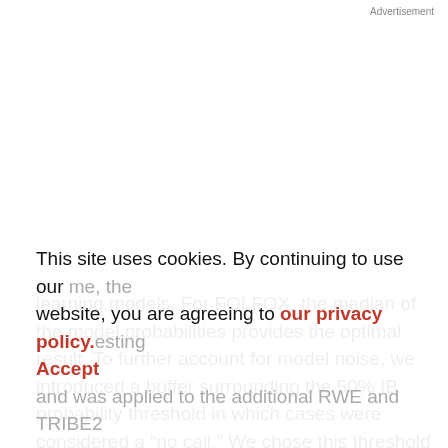Advertisement
learning models. For FOLFOX, the median of the model probabilities provides the optimal result. To further account for model noise, we introduced a buffer surrounding the 50% IB probability threshold in which cases were considered a “no call.” We chose this threshold by observing the IB probability range for each patient in this study. A 3% buffer was selected as it is one SD larger than the mean range, so the model will not return a prediction if
This site uses cookies. By continuing to use our website, you are agreeing to our privacy policy. Accept phase and was applied to the additional RWE and TRIBE2